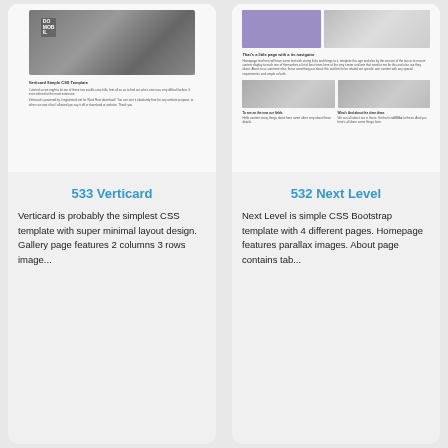[Figure (screenshot): Screenshot mockup of Verticard CSS template showing a desk/workspace photo, template title and text paragraphs]
[Figure (screenshot): Screenshot mockup of Next Level CSS Bootstrap template showing purple block, woman photo, two smaller photos, and text paragraphs]
533 Verticard
532 Next Level
Verticard is probably the simplest CSS template with super minimal layout design. Gallery page features 2 columns 3 rows image...
Next Level is simple CSS Bootstrap template with 4 different pages. Homepage features parallax images. About page contains tab...